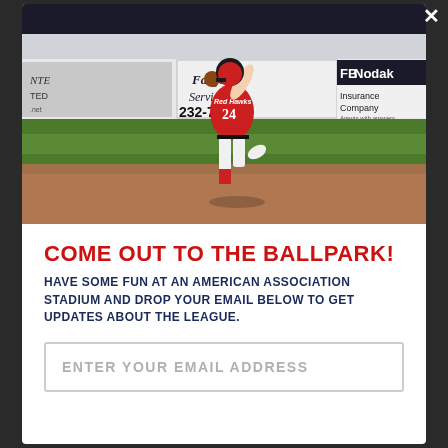[Figure (photo): A baseball player wearing a red jersey with number 24 and 'Red Hawks' text, pitching/throwing during a game at a ballpark. Outfield wall advertisements visible including 'Fargo Service 232-717', 'FB Nodak Insurance Company', and partial text 'ENTER TED net'. Background shows green outfield grass and brown dirt infield.]
COME OUT TO THE BALLPARK!
HAVE SOME FUN AT AN AMERICAN ASSOCIATION STADIUM AND DROP YOUR EMAIL BELOW TO GET UPDATES ABOUT THE LEAGUE.